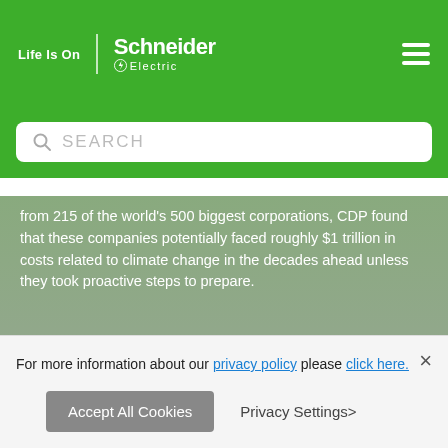Life Is On | Schneider Electric
SEARCH
[Figure (screenshot): Image of shipping containers with green overlay and white text reading: from 215 of the world's 500 biggest corporations, CDP found that these companies potentially faced roughly $1 trillion in costs related to climate change in the decades ahead unless they took proactive steps to prepare. Schneider Electric logo watermark in bottom right.]
Securing buy-in starts with education and a shared understanding of what energy and sustainability investments can do for the
For more information about our privacy policy please click here.
Accept All Cookies   Privacy Settings>